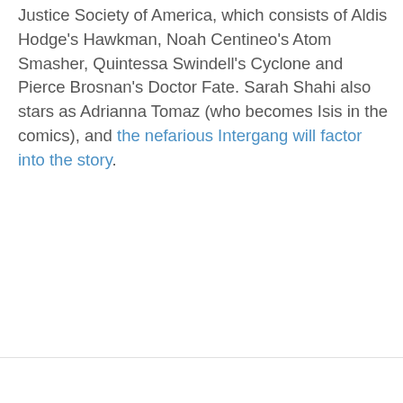Justice Society of America, which consists of Aldis Hodge's Hawkman, Noah Centineo's Atom Smasher, Quintessa Swindell's Cyclone and Pierce Brosnan's Doctor Fate. Sarah Shahi also stars as Adrianna Tomaz (who becomes Isis in the comics), and the nefarious Intergang will factor into the story.